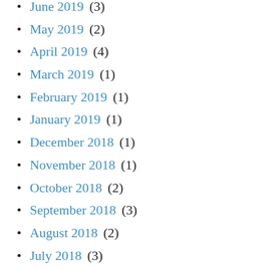June 2019 (3)
May 2019 (2)
April 2019 (4)
March 2019 (1)
February 2019 (1)
January 2019 (1)
December 2018 (1)
November 2018 (1)
October 2018 (2)
September 2018 (3)
August 2018 (2)
July 2018 (3)
June 2018 (1)
May 2018 (4)
April 2018 (2)
March 2018 (3)